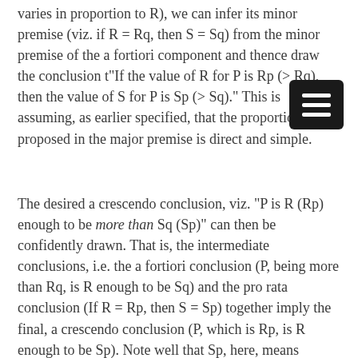varies in proportion to R), we can infer its minor premise (viz. if R = Rq, then S = Sq) from the minor premise of the a fortiori component and thence draw the conclusion that "If the value of R for P is Rp (> Rq), then the value of S for P is Sp (> Sq)." This is assuming, as earlier specified, that the proportionality proposed in the major premise is direct and simple.
The desired a crescendo conclusion, viz. "P is R (Rp) enough to be more than Sq (Sp)" can then be confidently drawn. That is, the intermediate conclusions, i.e. the a fortiori conclusion (P, being more than Rq, is R enough to be Sq) and the pro rata conclusion (If R = Rp, then S = Sp) together imply the final, a crescendo conclusion (P, which is Rp, is R enough to be Sp). Note well that Sp, here, means nothing more precise